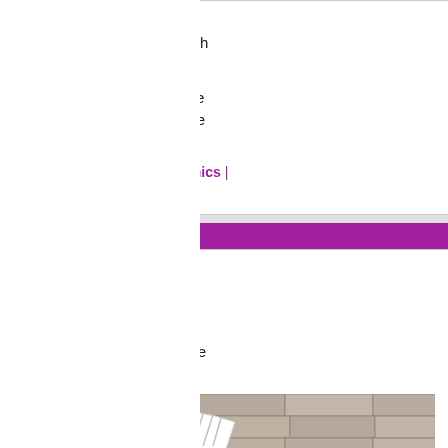there might be a good view in the distance boring. Well, it wasn't entirely boring. There was a park that I was able to visit.
But the thing was, what if the Limehouse that this was not so. So, there was a me And it didn't take that long.
Architecture | Bridges | Computer graphics |
Comments (0)
FRIDAY APRIL 07 2017
Fish in Orchard Place
by Brian Micklethwait
I couldn't decide which of these two fish photo on the right is better of the fish itse strange setting. Click on either, or both,
[Figure (photo): A large white fish sculpture mounted on or near a stone brick building wall, viewed from below at an angle. The fish is white/light colored with visible fins and scales details.]